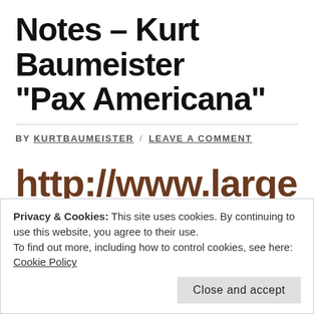Notes – Kurt Baumeister "Pax Americana"
BY KURTBAUMEISTER / LEAVE A COMMENT
http://www.largehearted
Privacy & Cookies: This site uses cookies. By continuing to use this website, you agree to their use.
To find out more, including how to control cookies, see here: Cookie Policy
Close and accept